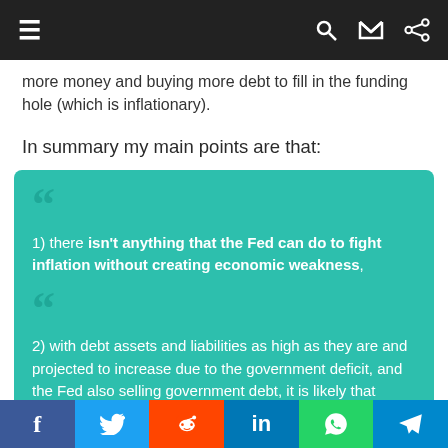Navigation bar with hamburger menu, search, and shuffle icons
more money and buying more debt to fill in the funding hole (which is inflationary).
In summary my main points are that:
1) there isn't anything that the Fed can do to fight inflation without creating economic weakness,
2) with debt assets and liabilities as high as they are and projected to increase due to the government deficit, and the Fed also selling government debt, it is likely that private credit growth will have to
Facebook, Twitter, Reddit, LinkedIn, WhatsApp, Telegram social share buttons